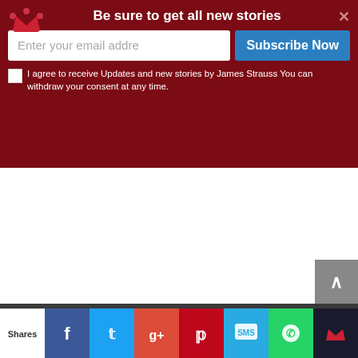Be sure to get all new stories
Enter your email addre
Subscribe Now
I agree to receive Updates and new stories by James Strauss You can withdraw your consent at any time.
A note to our visitors
This website has updated its privacy policy in compliance with EU Cookie legislation. Please read this to review the updates
I agree
Shares